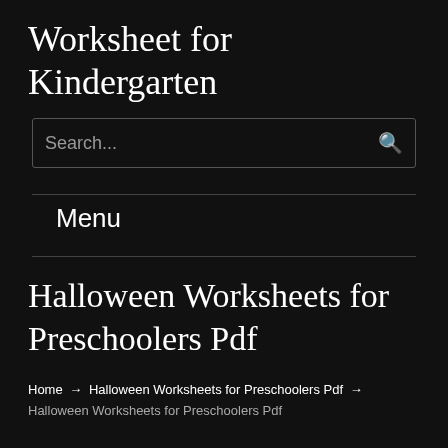Worksheet for Kindergarten
Search...
Menu
Halloween Worksheets for Preschoolers Pdf
Home → Halloween Worksheets for Preschoolers Pdf → Halloween Worksheets for Preschoolers Pdf